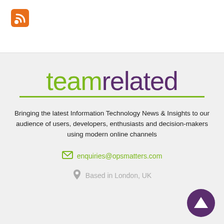[Figure (logo): RSS feed icon — orange rounded square with white RSS symbol]
[Figure (logo): teamrelated logo: 'team' in green, 'related' in purple, with a green underline]
Bringing the latest Information Technology News & Insights to our audience of users, developers, enthusiasts and decision-makers using modern online channels
enquiries@opsmatters.com
Based in London, UK
[Figure (other): Purple circular scroll-to-top button with white upward triangle arrow]